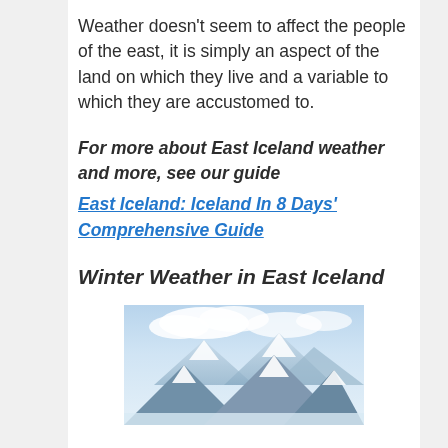Weather doesn't seem to affect the people of the east, it is simply an aspect of the land on which they live and a variable to which they are accustomed to.
For more about East Iceland weather and more, see our guide East Iceland: Iceland In 8 Days' Comprehensive Guide
Winter Weather in East Iceland
[Figure (photo): Snow-covered mountains in East Iceland with cloudy sky and icy landscape in winter]